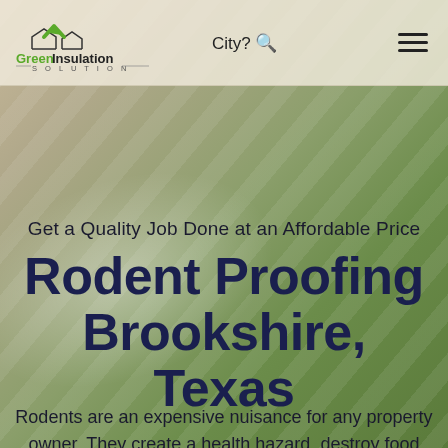[Figure (logo): Green Insulation Solution logo with house icon and green chevron/checkmark above stylized text]
City? 🔍
[Figure (other): Hamburger menu icon (three horizontal lines)]
Get a Quality Job Done at an Affordable Price
Rodent Proofing Brookshire, Texas
Rodents are an expensive nuisance for any property owner. They create a health hazard, destroy food supplies, chew wires and insulation, and cause fires by